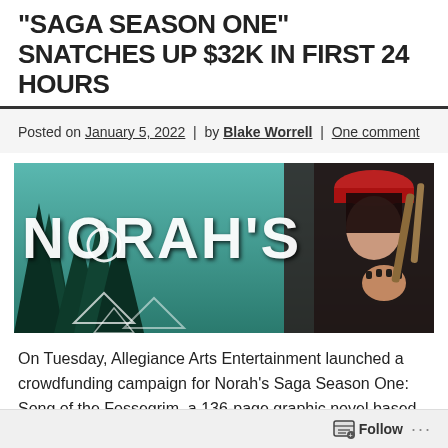"SAGA SEASON ONE" SNATCHES UP $32K IN FIRST 24 HOURS
Posted on January 5, 2022 | by Blake Worrell | One comment
[Figure (illustration): Comic book artwork showing 'NORAH'S' in large stylized white runic lettering over a teal/forest background with a dark-haired character on the right side]
On Tuesday, Allegiance Arts Entertainment launched a crowdfunding campaign for Norah's Saga Season One: Song of the Fossegrim, a 136-page graphic novel based on Norse mythology. The project is already fully funded,